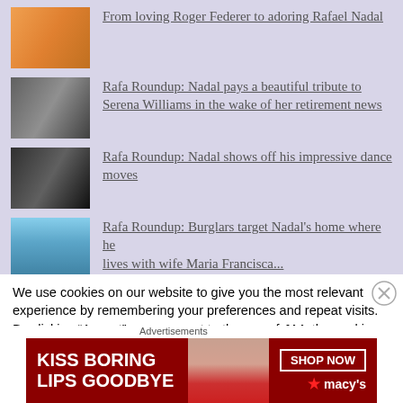From loving Roger Federer to adoring Rafael Nadal
Rafa Roundup: Nadal pays a beautiful tribute to Serena Williams in the wake of her retirement news
Rafa Roundup: Nadal shows off his impressive dance moves
Rafa Roundup: Burglars target Nadal's home where he lives with wife Maria Francisca…
We use cookies on our website to give you the most relevant experience by remembering your preferences and repeat visits. By clicking “Accept”, you consent to the use of ALL the cookies.
Do not sell my personal information
Advertisements
[Figure (infographic): Macy's advertisement banner: 'KISS BORING LIPS GOODBYE' with SHOP NOW button and Macy's logo, featuring a model with red lips]